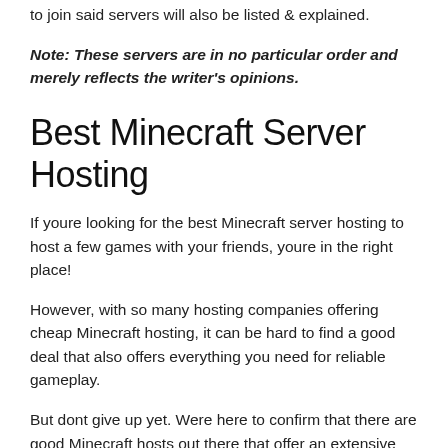to join said servers will also be listed & explained.
Note: These servers are in no particular order and merely reflects the writer's opinions.
Best Minecraft Server Hosting
If youre looking for the best Minecraft server hosting to host a few games with your friends, youre in the right place!
However, with so many hosting companies offering cheap Minecraft hosting, it can be hard to find a good deal that also offers everything you need for reliable gameplay.
But dont give up yet. Were here to confirm that there are good Minecraft hosts out there that offer an extensive